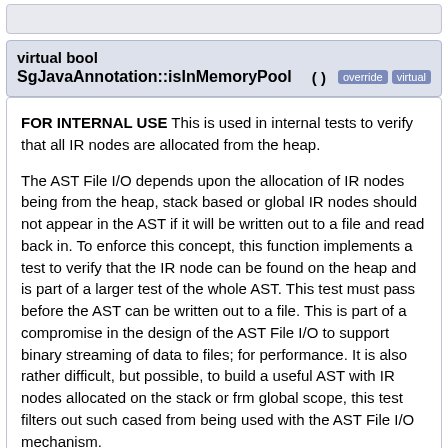virtual bool SgJavaAnnotation::isInMemoryPool ( )  override virtual
FOR INTERNAL USE This is used in internal tests to verify that all IR nodes are allocated from the heap.
The AST File I/O depends upon the allocation of IR nodes being from the heap, stack based or global IR nodes should not appear in the AST if it will be written out to a file and read back in. To enforce this concept, this function implements a test to verify that the IR node can be found on the heap and is part of a larger test of the whole AST. This test must pass before the AST can be written out to a file. This is part of a compromise in the design of the AST File I/O to support binary streaming of data to files; for performance. It is also rather difficult, but possible, to build a useful AST with IR nodes allocated on the stack or frm global scope, this test filters out such cased from being used with the AST File I/O mechanism.